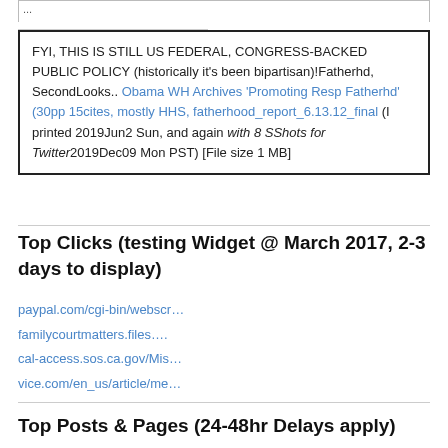FYI, THIS IS STILL US FEDERAL, CONGRESS-BACKED PUBLIC POLICY (historically it's been bipartisan)!Fatherhd, SecondLooks.. Obama WH Archives 'Promoting Resp Fatherhd' (30pp 15cites, mostly HHS, fatherhood_report_6.13.12_final (I printed 2019Jun2 Sun, and again with 8 SShots for Twitter2019Dec09 Mon PST) [File size 1 MB]
Top Clicks (testing Widget @ March 2017, 2-3 days to display)
paypal.com/cgi-bin/webscr…
familycourtmatters.files….
cal-access.sos.ca.gov/Mis…
vice.com/en_us/article/me…
Top Posts & Pages (24-48hr Delays apply)